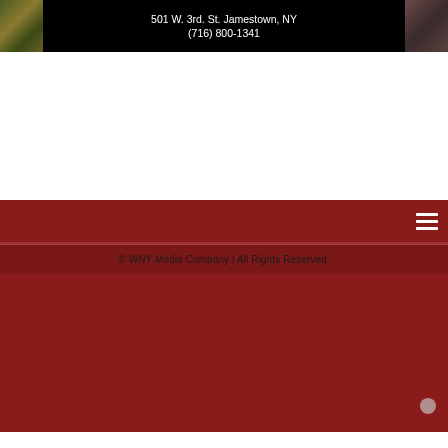[Figure (other): Header banner with black background, sports-themed images on left and right sides, and centered white text showing address '501 W. 3rd. St. Jamestown, NY' and phone number '(716) 800-1341']
[Figure (other): Dark red navigation bar with hamburger menu icon on the right]
© WNY Media Company | All Rights Reserved.